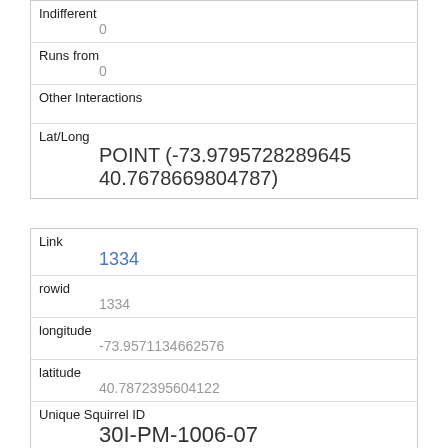| Indifferent | 0 |
| Runs from | 0 |
| Other Interactions |  |
| Lat/Long | POINT (-73.9795728289645 40.7678669804787) |
| Link | 1334 |
| rowid | 1334 |
| longitude | -73.9571134662576 |
| latitude | 40.7872395604122 |
| Unique Squirrel ID | 30I-PM-1006-07 |
| Hectare | 30I |